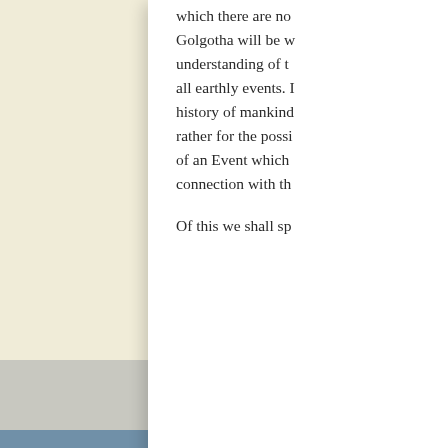which there are no... Golgotha will be w... understanding of t... all earthly events. I... history of mankind... rather for the possi... of an Event which... connection with th...

Of this we shall sp...